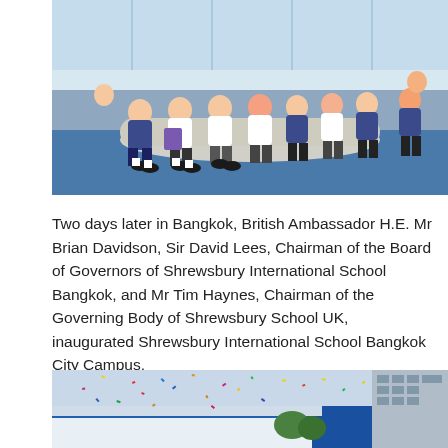[Figure (photo): Children in school uniforms sitting on modern curved seating in a library or reading area with blue carpet, some reading books.]
Two days later in Bangkok, British Ambassador H.E. Mr Brian Davidson, Sir David Lees, Chairman of the Board of Governors of Shrewsbury International School Bangkok, and Mr Tim Haynes, Chairman of the Governing Body of Shrewsbury School UK, inaugurated Shrewsbury International School Bangkok City Campus.
[Figure (photo): Outdoor ceremony at Shrewsbury International School Bangkok City Campus with confetti in the air and modern school buildings visible.]